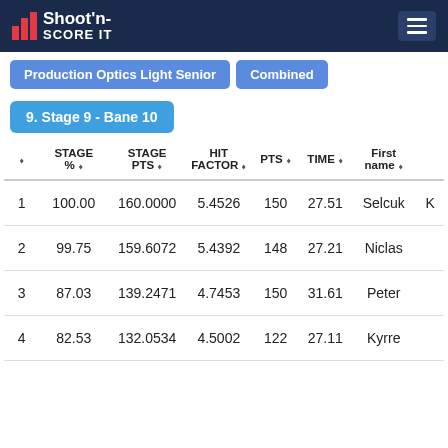Shoot'n Score It
Production Optics Light Senior | Combined
9. Stage 9 - Bane 10
|  | STAGE % | STAGE PTS | HIT FACTOR | PTS | TIME | First name |  |
| --- | --- | --- | --- | --- | --- | --- | --- |
| 1 | 100.00 | 160.0000 | 5.4526 | 150 | 27.51 | Selcuk | K |
| 2 | 99.75 | 159.6072 | 5.4392 | 148 | 27.21 | Niclas |  |
| 3 | 87.03 | 139.2471 | 4.7453 | 150 | 31.61 | Peter |  |
| 4 | 82.53 | 132.0534 | 4.5002 | 122 | 27.11 | Kyrre |  |